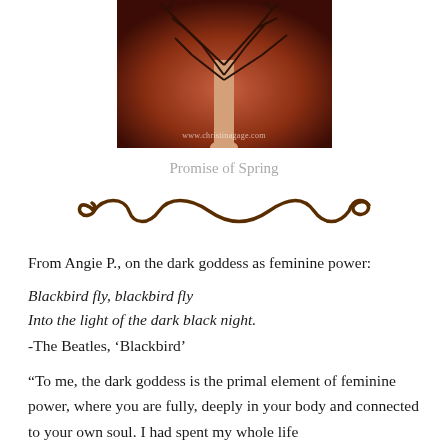[Figure (photo): Artwork showing a bare tree with dark branches against a reddish-brown background, with a light-colored trunk. Watermark reads www.christinagage.com]
Promise of Spring
[Figure (illustration): Decorative brown swirl/flourish divider line]
From Angie P., on the dark goddess as feminine power:
Blackbird fly, blackbird fly
Into the light of the dark black night.
-The Beatles, 'Blackbird'
“To me, the dark goddess is the primal element of feminine power, where you are fully, deeply in your body and connected to your own soul. I had spent my whole life